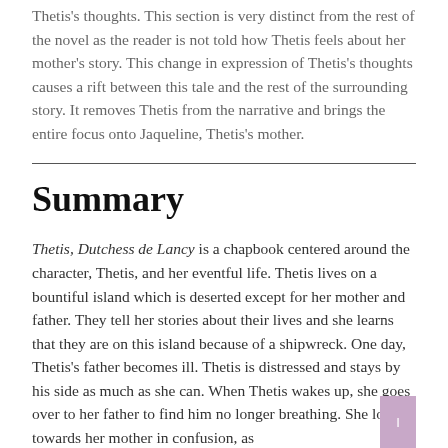Thetis's thoughts. This section is very distinct from the rest of the novel as the reader is not told how Thetis feels about her mother's story. This change in expression of Thetis's thoughts causes a rift between this tale and the rest of the surrounding story. It removes Thetis from the narrative and brings the entire focus onto Jaqueline, Thetis's mother.
Summary
Thetis, Dutchess de Lancy is a chapbook centered around the character, Thetis, and her eventful life. Thetis lives on a bountiful island which is deserted except for her mother and father. They tell her stories about their lives and she learns that they are on this island because of a shipwreck. One day, Thetis's father becomes ill. Thetis is distressed and stays by his side as much as she can. When Thetis wakes up, she goes over to her father to find him no longer breathing. She looks towards her mother in confusion, as